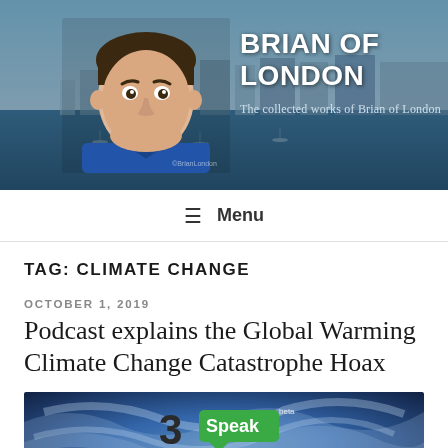[Figure (illustration): Website header banner with aerial photo of coastal city/harbor in background, illustrated portrait avatar of a man on left, site title and subtitle on right.]
BRIAN OF LONDON
The collected works of Brian of London
≡ Menu
TAG: CLIMATE CHANGE
OCTOBER 1, 2019
Podcast explains the Global Warming Climate Change Catastrophe Hoax
[Figure (screenshot): Thumbnail image with blue swirling sky background, '3Speak' logo with green speech bubble in upper area, and top of a person's head visible at bottom center.]